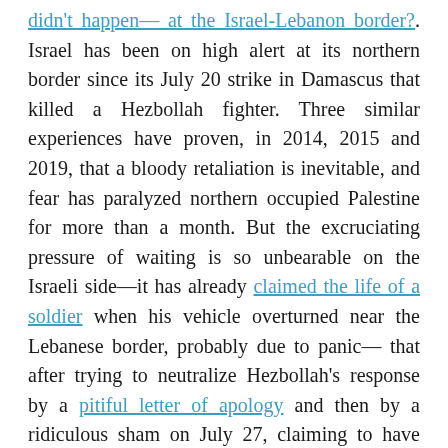didn't happen— at the Israel-Lebanon border?. Israel has been on high alert at its northern border since its July 20 strike in Damascus that killed a Hezbollah fighter. Three similar experiences have proven, in 2014, 2015 and 2019, that a bloody retaliation is inevitable, and fear has paralyzed northern occupied Palestine for more than a month. But the excruciating pressure of waiting is so unbearable on the Israeli side—it has already claimed the life of a soldier when his vehicle overturned near the Lebanese border, probably due to panic— that after trying to neutralize Hezbollah's response by a pitiful letter of apology and then by a ridiculous sham on July 27, claiming to have repelled an imaginary infiltration attempt, the Hebrew state has committed a third action even more stupid — and fraught with consequences— by replaying the